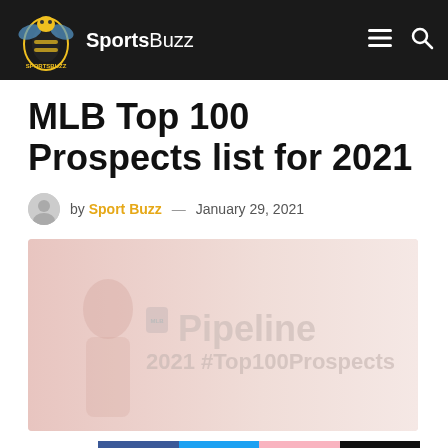SportsBuzz
MLB Top 100 Prospects list for 2021
by Sport Buzz — January 29, 2021
[Figure (photo): MLB Pipeline 2021 #Top100Prospects promotional image with faded pink/white background showing the MLB Pipeline branding and hashtag text.]
400